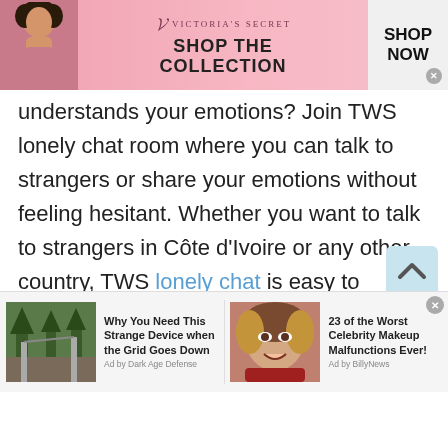[Figure (illustration): Victoria's Secret advertisement banner with model, logo, 'SHOP THE COLLECTION' text and 'SHOP NOW' button]
understands your emotions? Join TWS lonely chat room where you can talk to strangers or share your emotions without feeling hesitant. Whether you want to talk to strangers in Côte d'Ivoire or any other country, TWS lonely chat is easy to access all over the globe. Here all you can find are only real users that are always ready to resolve your problems. You can talk to strangers in Côte d'Ivoire via text chat or free cam chat and seek easy or quick solutions.
[Figure (screenshot): Two advertisement items at the bottom: 'Why You Need This Strange Device when the Grid Goes Down' by Dark Age Defense, and '23 of the Worst Celebrity Makeup Malfunctions Ever!' by BillyNews]